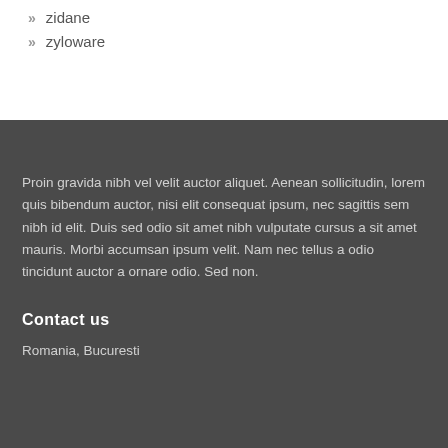zidane
zyloware
Proin gravida nibh vel velit auctor aliquet. Aenean sollicitudin, lorem quis bibendum auctor, nisi elit consequat ipsum, nec sagittis sem nibh id elit. Duis sed odio sit amet nibh vulputate cursus a sit amet mauris. Morbi accumsan ipsum velit. Nam nec tellus a odio tincidunt auctor a ornare odio. Sed non.
Contact us
Romania, Bucuresti